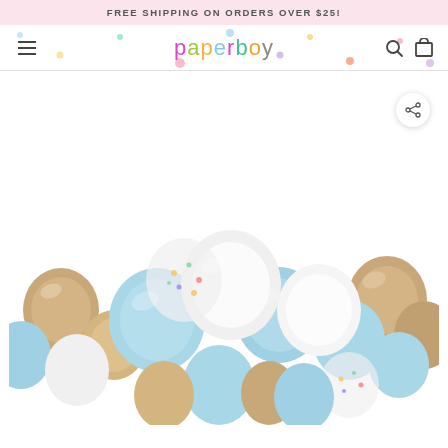FREE SHIPPING ON ORDERS OVER $25!
[Figure (logo): Paperboy party supplies logo with colorful letters in pink, green, orange, blue and teal on a white background with decorative confetti dots]
[Figure (photo): A balloon garland arrangement featuring light blue, white, champagne/gold metallic, and clear confetti balloons clustered together on a white background]